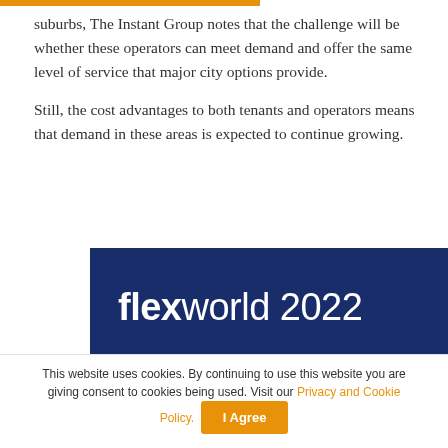suburbs, The Instant Group notes that the challenge will be whether these operators can meet demand and offer the same level of service that major city options provide.

Still, the cost advantages to both tenants and operators means that demand in these areas is expected to continue growing.
[Figure (illustration): Flexworld 2022 promotional banner image on dark navy background with bold white text reading 'flexworld 2022', with a GIF play button overlay, pink decorative shape, and partial image of people in background]
This website uses cookies. By continuing to use this website you are giving consent to cookies being used. Visit our Privacy and Cookie Policy.